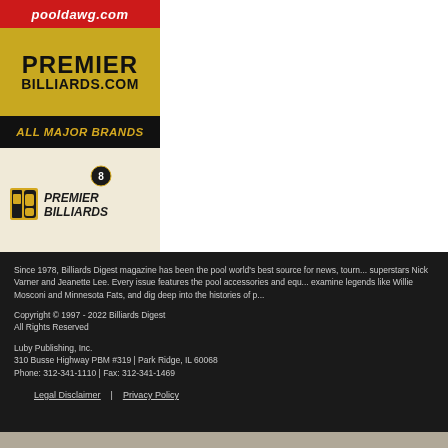[Figure (logo): pooldawg.com red banner logo]
[Figure (logo): Premier Billiards.com advertisement with gold and black design, All Major Brands tagline and Premier Billiards logo]
Since 1978, Billiards Digest magazine has been the pool world's best source for news, tournaments, superstars Nick Varner and Jeanette Lee. Every issue features the pool accessories and equipment, examine legends like Willie Mosconi and Minnesota Fats, and dig deep into the histories of p...
Copyright © 1997 - 2022 Billiards Digest
All Rights Reserved
Luby Publishing, Inc.
310 Busse Highway PBM #319 | Park Ridge, IL 60068
Phone: 312-341-1110 | Fax: 312-341-1469
Legal Disclaimer    |    Privacy Policy